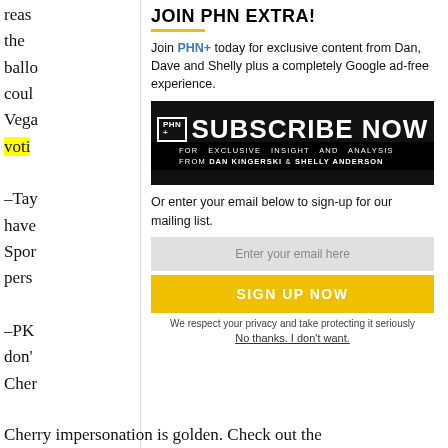reas the ballot coul Vega voti
–Tay have Spor pers
–PK don't love PK, we can't be friends. His Don Cherry impersonation is golden. Check out the
JOIN PHN EXTRA!
Join PHN+ today for exclusive content from Dan, Dave and Shelly plus a completely Google ad-free experience.
[Figure (other): PHN+ Subscribe Now banner — black background with large white bold text 'SUBSCRIBE NOW' and tagline 'FOR EXCLUSIVE INSIGHT AND ANALYSIS FROM DAN KINGERSKI & SHELLY ANDERSON']
Or enter your email below to sign-up for our mailing list.
Enter your email here
SIGN UP NOW
We respect your privacy and take protecting it seriously
No thanks. I don't want.